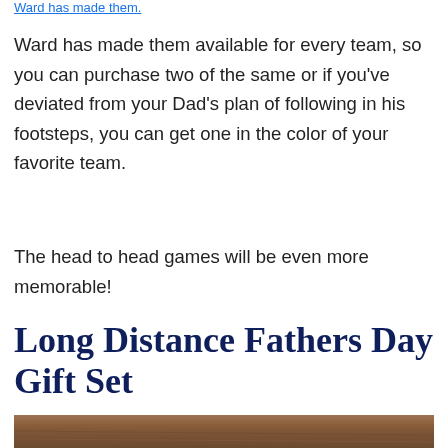Ward has made them available for every team, so you can purchase two of the same or if you've deviated from your Dad's plan of following in his footsteps, you can get one in the color of your favorite team.
The head to head games will be even more memorable!
Long Distance Fathers Day Gift Set
[Figure (photo): Bottom edge of a wooden surface or table, warm brown tones]